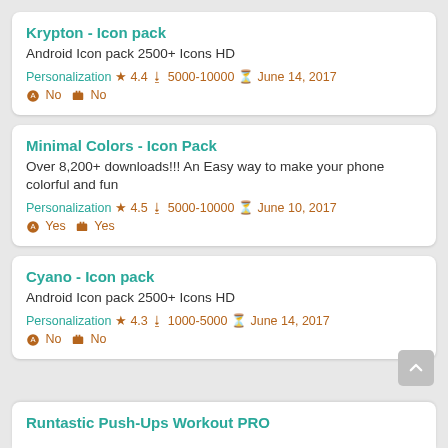Krypton - Icon pack
Android Icon pack 2500+ Icons HD
Personalization ★ 4.4 ⬇ 5000-10000 ⊙ June 14, 2017
⊙ No 🛒 No
Minimal Colors - Icon Pack
Over 8,200+ downloads!!! An Easy way to make your phone colorful and fun
Personalization ★ 4.5 ⬇ 5000-10000 ⊙ June 10, 2017
⊙ Yes 🛒 Yes
Cyano - Icon pack
Android Icon pack 2500+ Icons HD
Personalization ★ 4.3 ⬇ 1000-5000 ⊙ June 14, 2017
⊙ No 🛒 No
Runtastic Push-Ups Workout PRO